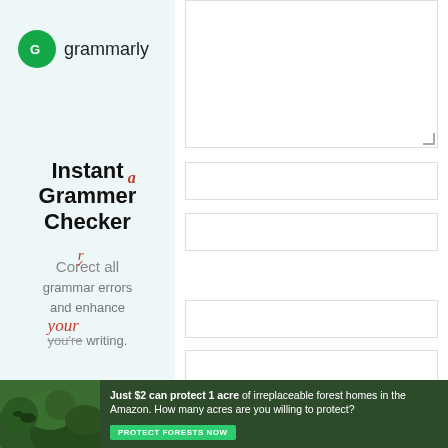[Figure (logo): Grammarly logo — green circle with G icon and 'grammarly' wordmark]
Instant Grammer Checker
Corect all grammar errors and enhance your writing.
and website in this browser for the next
POST COMMENT
[Figure (photo): Forest/Amazon rainforest background image with text: Just $2 can protect 1 acre of irreplaceable forest homes in the Amazon. How many acres are you willing to protect? PROTECT FORESTS NOW]